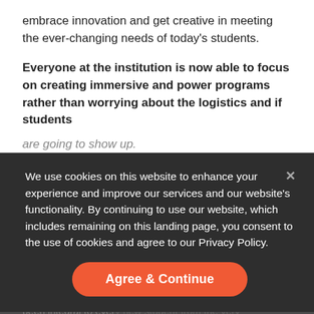embrace innovation and get creative in meeting the ever-changing needs of today's students.
Everyone at the institution is now able to focus on creating immersive and power programs rather than worrying about the logistics and if students are going to show up.
The Future
Making the use of our programs seamless and impactful
Because New Student Orientation 2020 was fully virtual (run through … has been integral to every new student from the very
We use cookies on this website to enhance your experience and improve our services and our website's functionality. By continuing to use our website, which includes remaining on this landing page, you consent to the use of cookies and agree to our Privacy Policy.